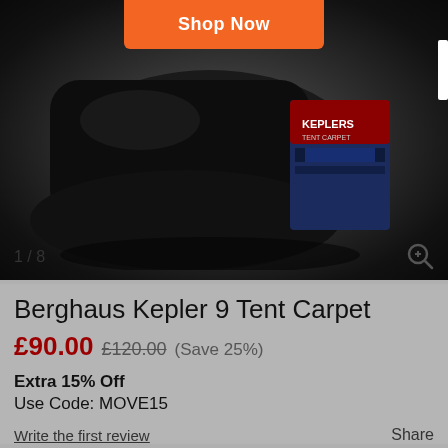[Figure (photo): Product photo of a black tent bag/carry sack on a grey background, with a Berghaus Kepler tent carpet packaging box visible in the upper right. An orange 'Shop Now' button is overlaid at the top center. Image counter shows 1/8.]
Berghaus Kepler 9 Tent Carpet
£90.00  £120.00  (Save 25%)
Extra 15% Off
Use Code: MOVE15
Write the first review
Share